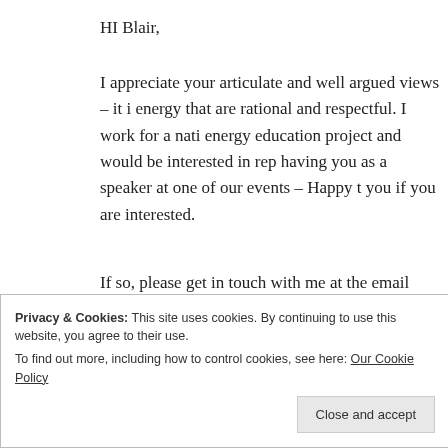HI Blair,
I appreciate your articulate and well argued views – it i... energy that are rational and respectful. I work for a nati... energy education project and would be interested in rep... having you as a speaker at one of our events – Happy t... you if you are interested.
If so, please get in touch with me at the email below: jarmstrong@techno-science.ca
thanks
Jason
Privacy & Cookies: This site uses cookies. By continuing to use this website, you agree to their use.
To find out more, including how to control cookies, see here: Our Cookie Policy